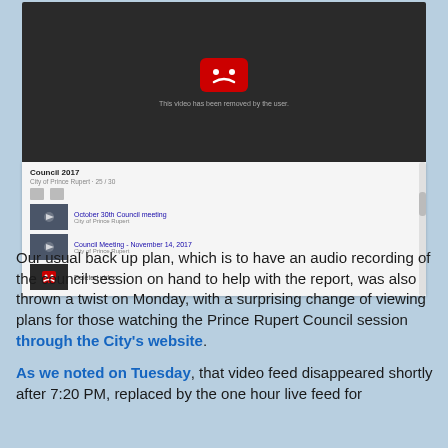[Figure (screenshot): Screenshot of a YouTube playlist showing a deleted video error. The main player area shows a YouTube error icon (sad face) on a dark background with text 'This video has been removed by the user.' Below is a playlist titled 'Council 2017' from City of Prince Rupert with items: 'October 30th Council meeting', 'Council Meeting - November 14, 2017', and 'Deleted video'.]
Our usual back up plan, which is to have an audio recording of the council session on hand to help with the report, was also thrown a twist on Monday, with a surprising change of viewing plans for those watching the Prince Rupert Council session through the City's website.
As we noted on Tuesday, that video feed disappeared shortly after 7:20 PM, replaced by the one hour live feed for